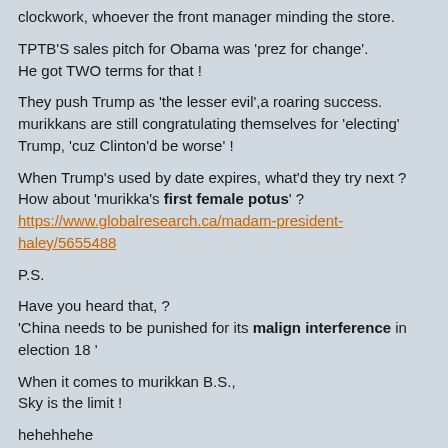clockwork, whoever the front manager minding the store.
TPTB'S sales pitch for Obama was 'prez for change'. He got TWO terms for that !
They push Trump as 'the lesser evil',a roaring success. murikkans are still congratulating themselves for 'electing' Trump, 'cuz Clinton'd be worse' !
When Trump's used by date expires, what'd they try next ? How about 'murikka's first female potus' ? https://www.globalresearch.ca/madam-president-haley/5655488
P.S.
Have you heard that, ? 'China needs to be punished for its malign interference in election 18 '
When it comes to murikkan B.S., Sky is the limit !
hehehhehe
Posted by: denk | Oct 5 2018 4:49 utc | 201
denk 202